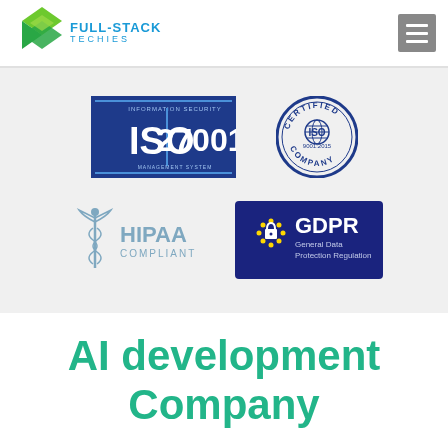[Figure (logo): Full-Stack Techies logo with green arrow chevron icon and blue text]
[Figure (logo): ISO 27001 Information Security Management System badge in blue]
[Figure (logo): ISO 9001:2015 Certified Company circular badge]
[Figure (logo): HIPAA Compliant badge with caduceus symbol in blue-grey]
[Figure (logo): GDPR General Data Protection Regulation badge in dark blue]
AI development Company